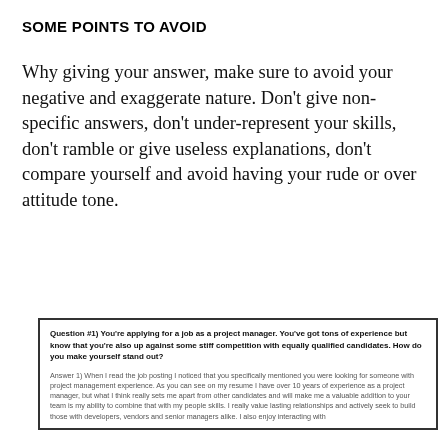SOME POINTS TO AVOID
Why giving your answer, make sure to avoid your negative and exaggerate nature. Don't give non-specific answers, don't under-represent your skills, don't ramble or give useless explanations, don't compare yourself and avoid having your rude or over attitude tone.
Question #1) You're applying for a job as a project manager. You've got tons of experience but know that you're also up against some stiff competition with equally qualified candidates. How do you make yourself stand out?

Answer 1) When I read the job posting I noticed that you specifically mentioned you were looking for someone with project management experience. As you can see on my resume I have over 10 years of experience as a project manager, but what I think really sets me apart from other candidates and will make me a valuable addition to your team is my ability to combine that with my people skills. I really value lasting relationships and actively seek to build those with developers, vendors and senior managers alike. I also enjoy interacting with